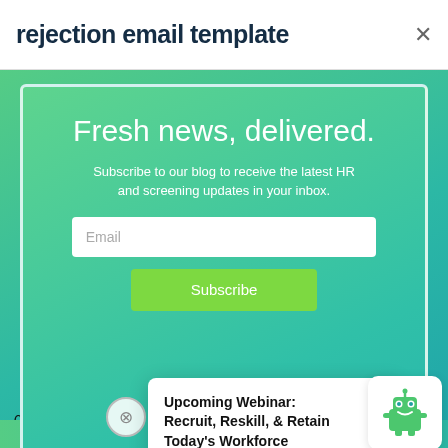rejection email template
[Figure (screenshot): Newsletter subscription modal overlay on a green gradient background with 'Fresh news, delivered.' headline, email input field, and Subscribe button]
Upcoming Webinar: Recruit, Reskill, & Retain Today's Workforce
candidate this time... on was [constructive feed...